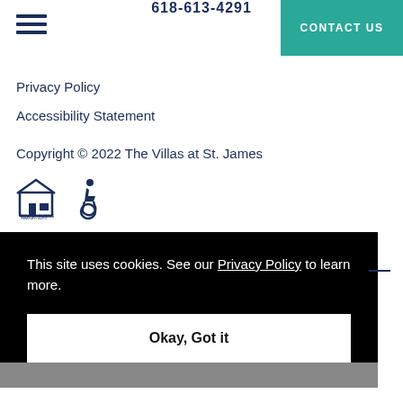618-613-4291 | CONTACT US
Privacy Policy
Accessibility Statement
Copyright © 2022 The Villas at St. James
[Figure (illustration): Equal Housing Opportunity logo and wheelchair accessibility icon in navy blue]
This site uses cookies. See our Privacy Policy to learn more.
Okay, Got it